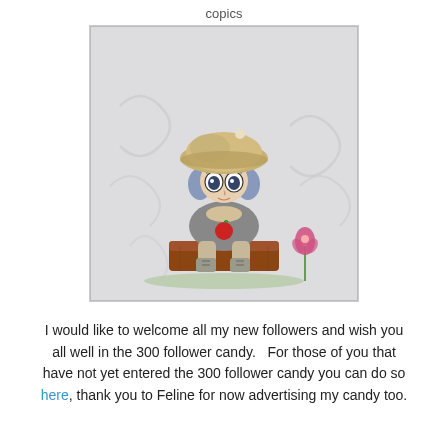copics
[Figure (illustration): Anime-style chibi character illustration: a small child with grey-blue hair wearing a large tan beret hat, sitting on a tree stump, holding a red apple, dressed in a grey outfit with lace-up boots. A pink flower is visible to the right. The background has embossed swirl patterns in light grey.]
I would like to welcome all my new followers and wish you all well in the 300 follower candy.   For those of you that have not yet entered the 300 follower candy you can do so here, thank you to Feline for now advertising my candy too.